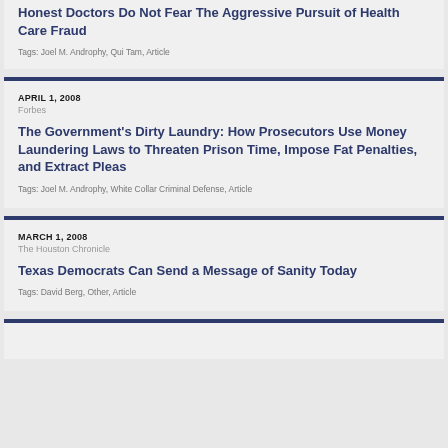Honest Doctors Do Not Fear The Aggressive Pursuit of Health Care Fraud
Tags: Joel M. Androphy, Qui Tam, Article
APRIL 1, 2008
Forbes
The Government's Dirty Laundry: How Prosecutors Use Money Laundering Laws to Threaten Prison Time, Impose Fat Penalties, and Extract Pleas
Tags: Joel M. Androphy, White Collar Criminal Defense, Article
MARCH 1, 2008
The Houston Chronicle
Texas Democrats Can Send a Message of Sanity Today
Tags: David Berg, Other, Article